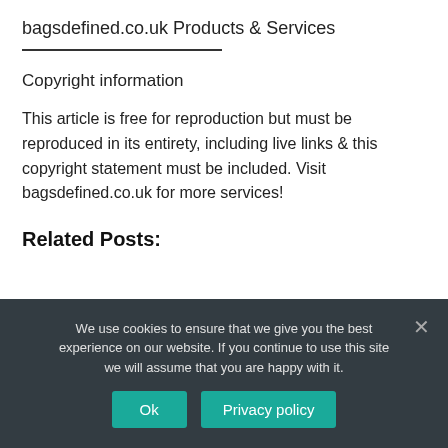bagsdefined.co.uk Products & Services
Copyright information
This article is free for reproduction but must be reproduced in its entirety, including live links & this copyright statement must be included. Visit bagsdefined.co.uk for more services!
Related Posts:
We use cookies to ensure that we give you the best experience on our website. If you continue to use this site we will assume that you are happy with it.